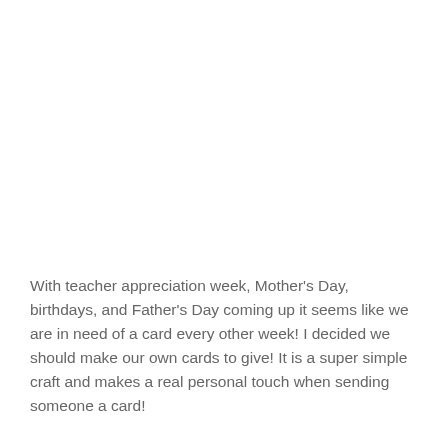With teacher appreciation week, Mother's Day, birthdays, and Father's Day coming up it seems like we are in need of a card every other week! I decided we should make our own cards to give! It is a super simple craft and makes a real personal touch when sending someone a card!